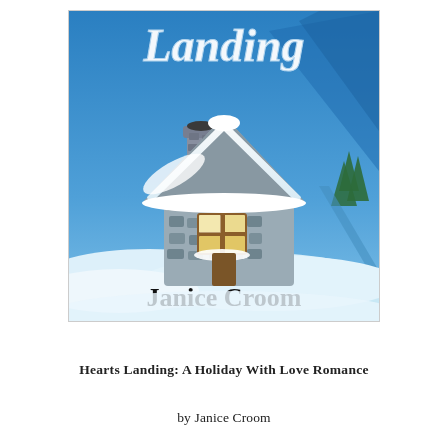[Figure (illustration): Book cover illustration for 'Hearts Landing' by Janice Croom. Features a cozy stone cottage with a snow-covered roof and chimney in the center, set against a vivid blue sky with mountains. The word 'Landing' appears in large white cursive script at the top. The author's name 'Janice Croom' appears in large black serif text at the bottom of the cover against a white/light blue snowy foreground. Snow drifts cover the ground around the cottage. Green pine trees visible in the background.]
Hearts Landing: A Holiday With Love Romance
by Janice Croom